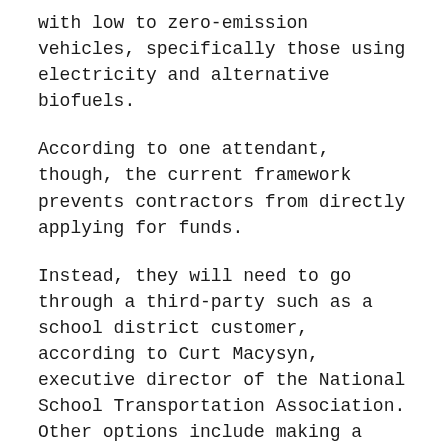with low to zero-emission vehicles, specifically those using electricity and alternative biofuels.
According to one attendant, though, the current framework prevents contractors from directly applying for funds.
Instead, they will need to go through a third-party such as a school district customer, according to Curt Macysyn, executive director of the National School Transportation Association. Other options include making a point-of-sale rebate from the school bus manufacturer or potentially a dealer, narrowing the playing field in the process.